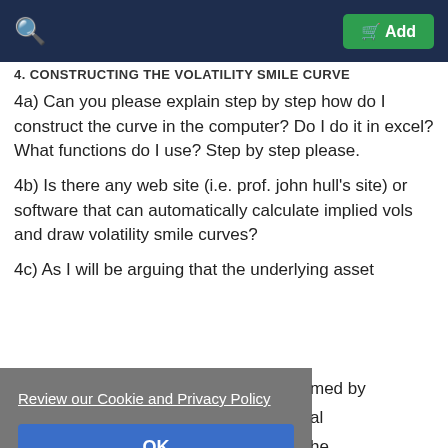4. CONSTRUCTING THE VOLATILITY SMILE CURVE
4a) Can you please explain step by step how do I construct the curve in the computer? Do I do it in excel? What functions do I use? Step by step please.
4b) Is there any web site (i.e. prof. john hull's site) or software that can automatically calculate implied vols and draw volatility smile curves?
4c) As I will be arguing that the underlying asset
Review our Cookie and Privacy Policy
OK